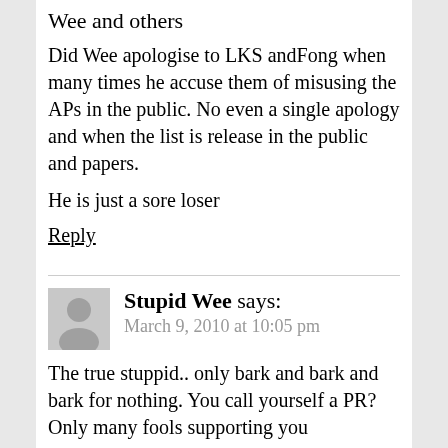Wee and others
Did Wee apologise to LKS andFong when many times he accuse them of misusing the APs in the public. No even a single apology and when the list is release in the public and papers.
He is just a sore loser
Reply
Stupid Wee says:
March 9, 2010 at 10:05 pm
The true stuppid.. only bark and bark and bark for nothing. You call yourself a PR? Only many fools supporting you